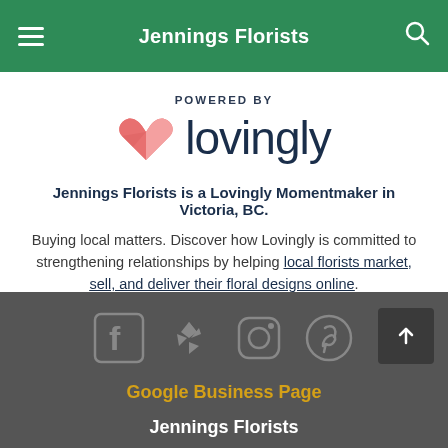Jennings Florists
[Figure (logo): Lovingly heart logo with text 'POWERED BY lovingly']
Jennings Florists is a Lovingly Momentmaker in Victoria, BC.
Buying local matters. Discover how Lovingly is committed to strengthening relationships by helping local florists market, sell, and deliver their floral designs online.
[Figure (other): Social media icons: Facebook, Yelp, Instagram, Pinterest. Back to top arrow button.]
Google Business Page
Jennings Florists